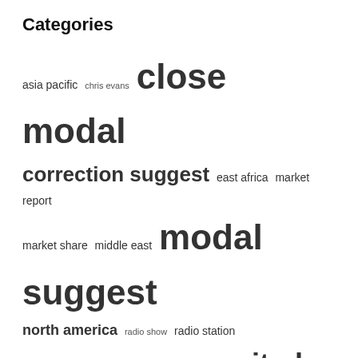Categories
[Figure (infographic): Tag cloud with categories of varying font sizes: asia pacific (small), chris evans (extra small), close modal (extra large), correction suggest (large), east africa (small), market report (small), market share (small), middle east (small), modal suggest (extra large), north america (medium), radio show (extra small), radio station (small), suggest correction (large), united states (extra large), virgin radio (small)]
Classic radio
Jazz radio
Radio industry
Sud radio